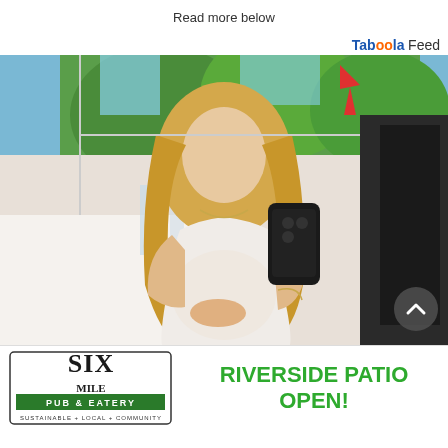Read more below
Taboola Feed
[Figure (photo): A pregnant blonde woman in a white dress taking a mirror selfie with a black iPhone in what appears to be a bright restaurant or shop interior with large windows and green trees visible outside.]
[Figure (logo): Six Mile Pub & Eatery advertisement banner with text: RIVERSIDE PATIO OPEN! Sustainable + Local + Community]